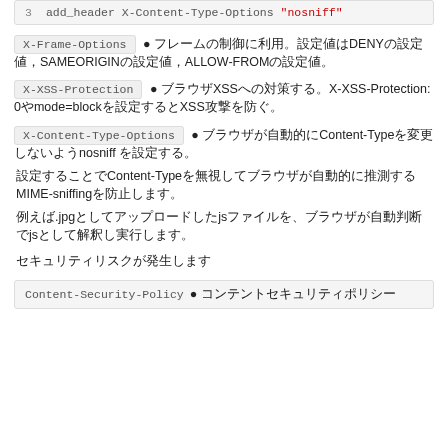3   add_header X-Content-Type-Options "nosniff"
X-Frame-Options ● フレームの制御に利用。設定値はDENYの設定値、SAMEORIGINの設定値、ALLOW-FROMの設定値。
X-XSS-Protection ● ブラウザXSSへの対策する。X-XSS-Protection: 0やmode=blockを設定するとXSS攻撃を防ぐ。
X-Content-Type-Options ● ブラウザが自動的にContent-Typeを変更しないようnosniff を設定する。設定することでContent-Typeを無視してブラウザが自動的に推測するMIME-sniffingを防止します。
例えば.jpgとしてアップロードしたjsファイルを、ブラウザが自動判断でjsとして解釈し実行します。
セキュリティリスクが発生します
Content-Security-Policy ● コンテントセキュリティポリシー